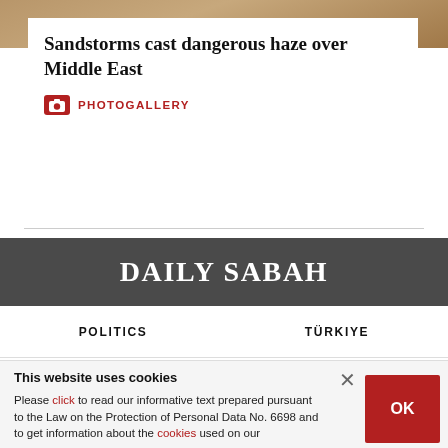[Figure (photo): Top portion of a background image, brownish/sandy tones]
Sandstorms cast dangerous haze over Middle East
PHOTOGALLERY
[Figure (logo): Daily Sabah logo in white on dark grey background]
POLITICS   TÜRKİYE
This website uses cookies
Please click to read our informative text prepared pursuant to the Law on the Protection of Personal Data No. 6698 and to get information about the cookies used on our